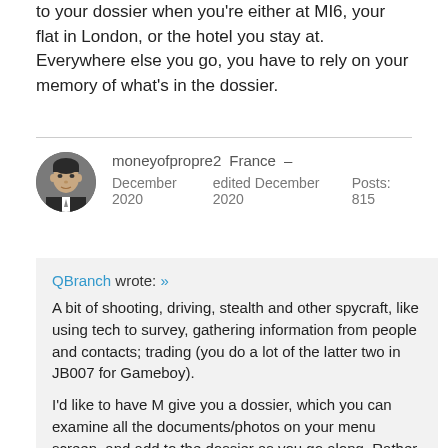to your dossier when you're either at MI6, your flat in London, or the hotel you stay at. Everywhere else you go, you have to rely on your memory of what's in the dossier.
moneyofpropre2   France  –
December 2020   edited December 2020   Posts: 815
QBranch wrote: »
A bit of shooting, driving, stealth and other spycraft, like using tech to survey, gathering information from people and contacts; trading (you do a lot of the latter two in JB007 for Gameboy).

I'd like to have M give you a dossier, which you can examine all the documents/photos on your menu screen, and add to the dossier as you go along. Rather than receive a long list of objectives, you have to use your brain a bit more to piece everything together. In the films, M would only give Bond one or two mission objectives, and he would choose how he goes about